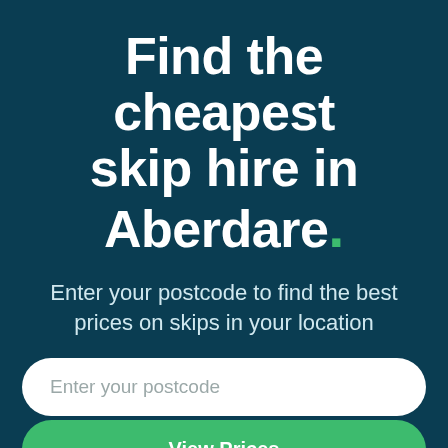Find the cheapest skip hire in Aberdare.
Enter your postcode to find the best prices on skips in your location
Enter your postcode
View Prices